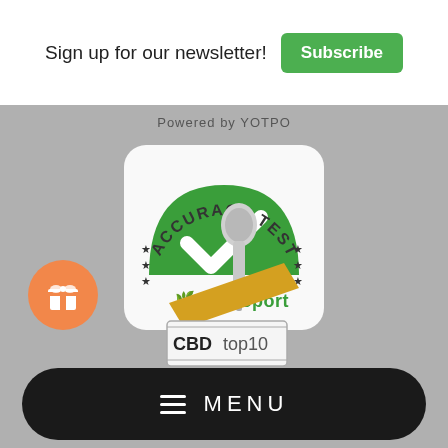Sign up for our newsletter!
Subscribe
Powered by YOTPO
[Figure (logo): Leafreport Accuracy Test badge: a semicircular green badge with a white checkmark, surrounded by stars, with text 'ACCURACY TEST' arched above and 'Leafreport' with a leaf icon below, on a white rounded rectangle background.]
[Figure (illustration): Orange circular gift/reward button icon with a white gift box symbol]
[Figure (illustration): CBDtop10 dropper bottle illustration: a dropper with a golden/yellow bottle labeled 'CBDtop10']
MENU